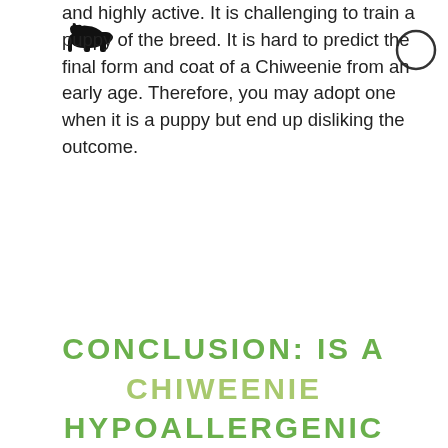[Figure (illustration): Small black silhouette icon of a dog (appears to be a terrier breed)]
[Figure (other): Empty circle outline, like a navigation or toggle button]
and highly active. It is challenging to train a puppy of the breed. It is hard to predict the final form and coat of a Chiweenie from an early age. Therefore, you may adopt one when it is a puppy but end up disliking the outcome.
CONCLUSION: IS A CHIWEENIE HYPOALLERGENIC